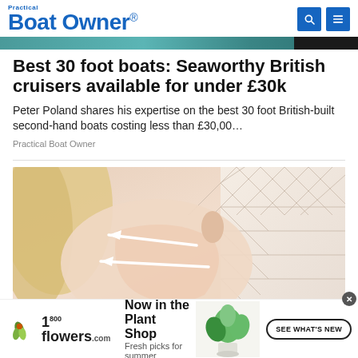Practical Boat Owner
[Figure (screenshot): Top image strip showing boat/water scene in teal tones]
Best 30 foot boats: Seaworthy British cruisers available for under £30k
Peter Poland shares his expertise on the best 30 foot British-built second-hand boats costing less than £30,00…
Practical Boat Owner
[Figure (photo): Close-up side profile of woman's face/neck with two white arrows pointing left, skin treatment advertisement image]
[Figure (infographic): 1-800-flowers.com advertisement banner: Now in the Plant Shop, Fresh picks for summer, SEE WHAT'S NEW button, plant image]